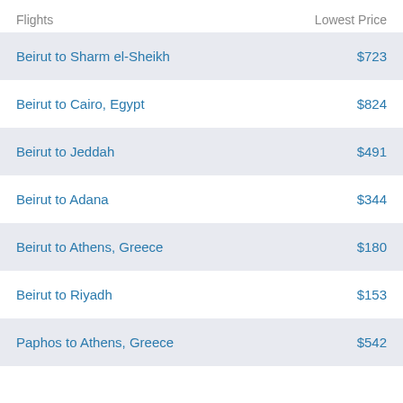| Flights | Lowest Price |
| --- | --- |
| Beirut to Sharm el-Sheikh | $723 |
| Beirut to Cairo, Egypt | $824 |
| Beirut to Jeddah | $491 |
| Beirut to Adana | $344 |
| Beirut to Athens, Greece | $180 |
| Beirut to Riyadh | $153 |
| Paphos to Athens, Greece | $542 |